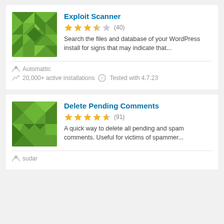Exploit Scanner
3.5 stars (40)
Search the files and database of your WordPress install for signs that may indicate that...
Automattic
20,000+ active installations  Tested with 4.7.23
Delete Pending Comments
4.5 stars (91)
A quick way to delete all pending and spam comments. Useful for victims of spammer...
sudar